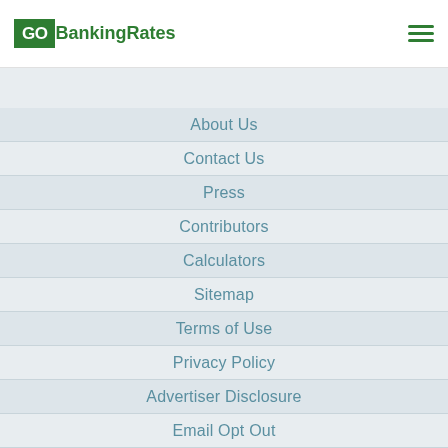GOBankingRates
About Us
Contact Us
Press
Contributors
Calculators
Sitemap
Terms of Use
Privacy Policy
Advertiser Disclosure
Email Opt Out
Careers